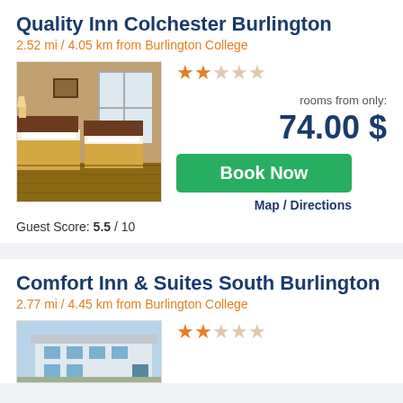Quality Inn Colchester Burlington
2.52 mi / 4.05 km from Burlington College
[Figure (photo): Hotel room with two beds, warm lighting, brown/gold decor and bedding, window with natural light]
rooms from only: 74.00 $
Book Now
Guest Score: 5.5 / 10
Map / Directions
Comfort Inn & Suites South Burlington
2.77 mi / 4.45 km from Burlington College
[Figure (photo): Exterior of hotel building]